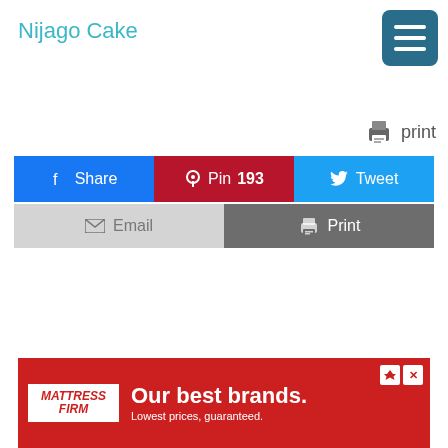Nijago Cake
[Figure (screenshot): Menu hamburger button icon, dark teal/blue square with three white horizontal lines]
print
[Figure (infographic): Social sharing buttons row: Share (Facebook, blue), Pin 193 (Pinterest, dark red), Tweet (Twitter, light blue), Email (light gray), Print (dark gray)]
[Figure (screenshot): Advertisement banner for Mattress Firm: red background with white logo on left and text 'Our best brands. Lowest prices, guaranteed.']